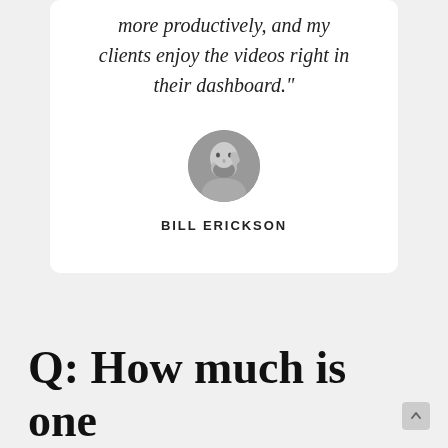more productively, and my clients enjoy the videos right in their dashboard.”
[Figure (photo): Circular avatar photo of Bill Erickson, a bearded man in black and white]
BILL ERICKSON
Q: How much is one